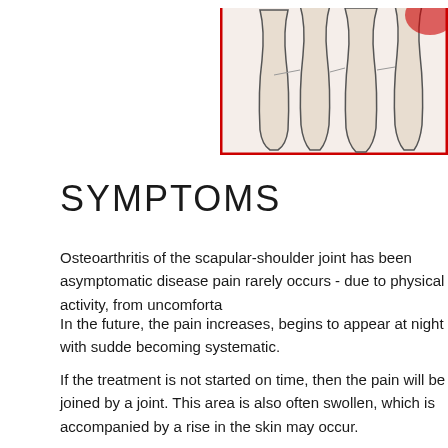[Figure (illustration): Medical illustration of a joint (likely shoulder/scapular joint) showing bone and tissue structures with a red border frame, cropped at top-right of page]
SYMPTOMS
Osteoarthritis of the scapular-shoulder joint has been asymptomatic disease pain rarely occurs - due to physical activity, from uncomforta
In the future, the pain increases, begins to appear at night with sudde becoming systematic.
If the treatment is not started on time, then the pain will be joined by a joint. This area is also often swollen, which is accompanied by a rise in the skin may occur.